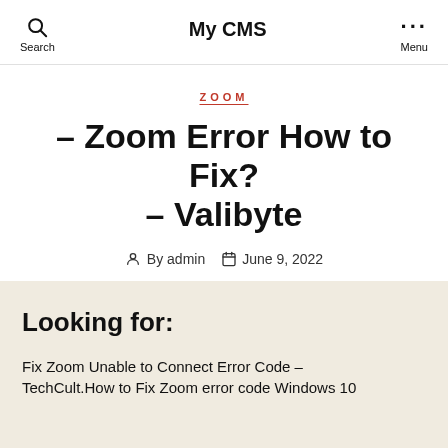My CMS
ZOOM
– Zoom Error How to Fix? – Valibyte
By admin  June 9, 2022
Looking for:
Fix Zoom Unable to Connect Error Code – TechCult.How to Fix Zoom error code Windows 10